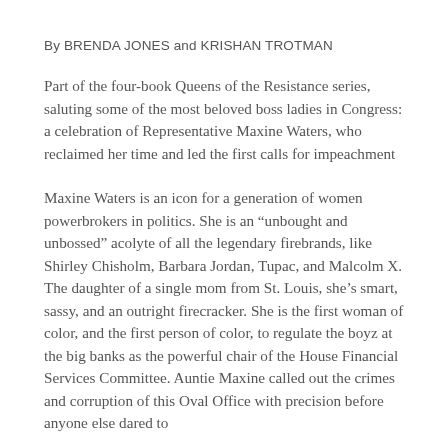By BRENDA JONES and KRISHAN TROTMAN
Part of the four-book Queens of the Resistance series, saluting some of the most beloved boss ladies in Congress: a celebration of Representative Maxine Waters, who reclaimed her time and led the first calls for impeachment
Maxine Waters is an icon for a generation of women powerbrokers in politics. She is an “unbought and unbossed” acolyte of all the legendary firebrands, like Shirley Chisholm, Barbara Jordan, Tupac, and Malcolm X. The daughter of a single mom from St. Louis, she’s smart, sassy, and an outright firecracker. She is the first woman of color, and the first person of color, to regulate the boyz at the big banks as the powerful chair of the House Financial Services Committee. Auntie Maxine called out the crimes and corruption of this Oval Office with precision before anyone else dared to